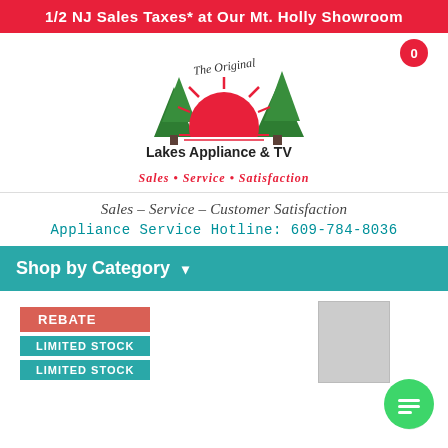1/2 NJ Sales Taxes* at Our Mt. Holly Showroom
[Figure (logo): Lakes Appliance & TV logo with sun, trees and tagline 'Sales • Service • Satisfaction']
Sales – Service – Customer Satisfaction
Appliance Service Hotline: 609-784-8036
Shop by Category
[Figure (photo): Product image (gray placeholder rectangle)]
REBATE
LIMITED STOCK
LIMITED STOCK